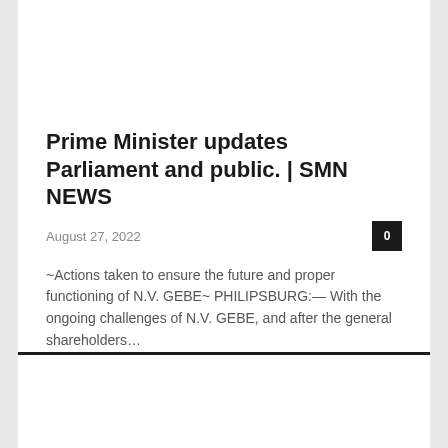Prime Minister updates Parliament and public. | SMN NEWS
August 27, 2022
~Actions taken to ensure the future and proper functioning of N.V. GEBE~ PHILIPSBURG:— With the ongoing challenges of N.V. GEBE, and after the general shareholders…